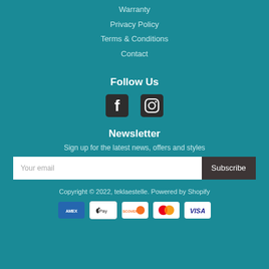Warranty
Privacy Policy
Terms & Conditions
Contact
Follow Us
[Figure (illustration): Facebook and Instagram social media icons]
Newsletter
Sign up for the latest news, offers and styles
Your email / Subscribe button
Copyright © 2022, teklaestelle. Powered by Shopify
[Figure (illustration): Payment method icons: American Express, Apple Pay, Discover, Mastercard, Visa]